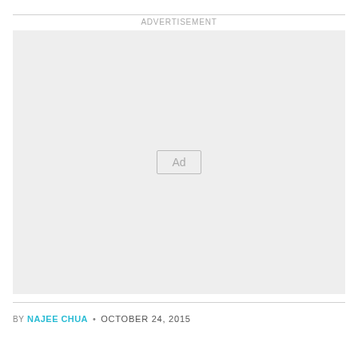ADVERTISEMENT
[Figure (other): Advertisement placeholder box with 'Ad' label centered inside a light gray rectangle]
BY NAJEE CHUA • OCTOBER 24, 2015